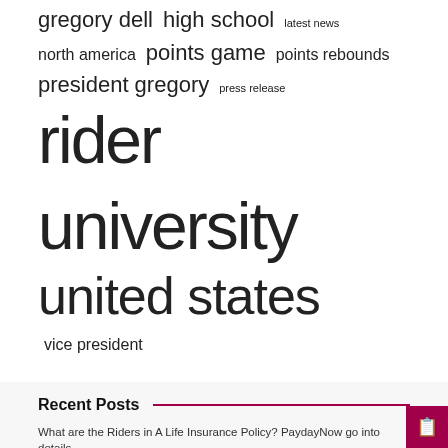gregory dell  high school  latest news  north america  points game  points rebounds  president gregory  press release  rider university  united states  vice president
Recent Posts
What are the Riders in A Life Insurance Policy? PaydayNow go into details
Difficult concert: the Deliveroo pilot is considered a contractor and not an employee
Mountain bike cyclist Rab Wardell dies aged 37, days after winning Scottish title | Bike